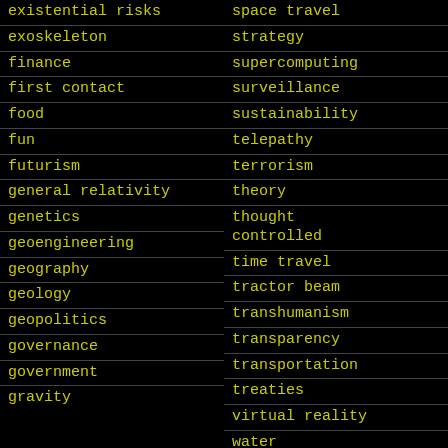existential risks
exoskeleton
finance
first contact
food
fun
futurism
general relativity
genetics
geoengineering
geography
geology
geopolitics
governance
government
gravity
space travel
strategy
supercomputing
surveillance
sustainability
telepathy
terrorism
theory
thought controlled
time travel
tractor beam
transhumanism
transparency
transportation
treaties
virtual reality
water